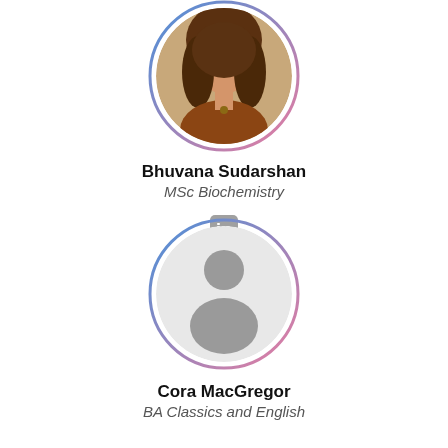[Figure (photo): Circular profile photo of Bhuvana Sudarshan with blue and pink border ring, woman with long brown hair]
Bhuvana Sudarshan
MSc Biochemistry
[Figure (logo): LinkedIn 'in' logo in gray]
[Figure (illustration): Circular default avatar placeholder with blue and pink border ring, gray silhouette person icon on light gray background]
Cora MacGregor
BA Classics and English